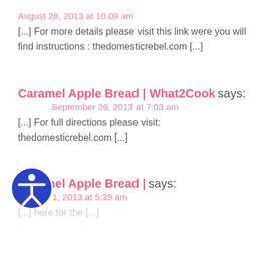August 28, 2013 at 10:09 am
[...] For more details please visit this link were you will find instructions : thedomesticrebel.com [...]
Caramel Apple Bread | What2Cook says:
September 26, 2013 at 7:03 am
[...] For full directions please visit: thedomesticrebel.com [...]
Caramel Apple Bread | says:
October 1, 2013 at 5:39 am
[...] here for the [...]